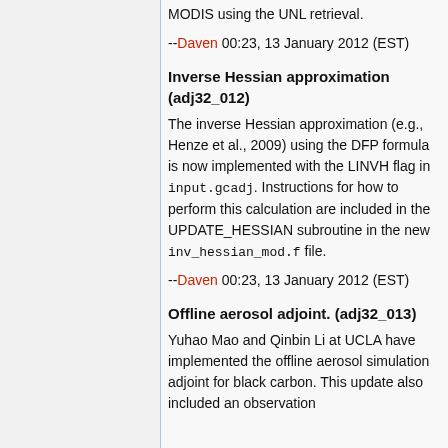MODIS using the UNL retrieval.
--Daven 00:23, 13 January 2012 (EST)
Inverse Hessian approximation (adj32_012)
The inverse Hessian approximation (e.g., Henze et al., 2009) using the DFP formula is now implemented with the LINVH flag in input.gcadj. Instructions for how to perform this calculation are included in the UPDATE_HESSIAN subroutine in the new inv_hessian_mod.f file.
--Daven 00:23, 13 January 2012 (EST)
Offline aerosol adjoint. (adj32_013)
Yuhao Mao and Qinbin Li at UCLA have implemented the offline aerosol simulation adjoint for black carbon. This update also included an observation